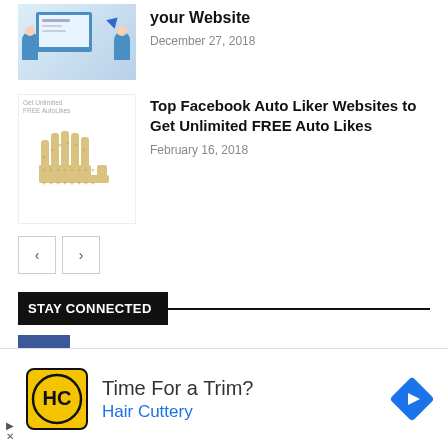[Figure (illustration): Thumbnail image for website content article, showing people and a monitor]
your Website
December 27, 2018
[Figure (illustration): Thumbnail for Facebook Auto Liker article showing a snake made of likes and text 'Get Unlimited FREE AutoLikes']
Top Facebook Auto Liker Websites to Get Unlimited FREE Auto Likes
February 16, 2018
[Figure (other): Navigation previous and next arrow buttons]
STAY CONNECTED
13,107  Fans
LIKE
65,643  Followers
FOLLOW
[Figure (advertisement): Ad banner for Hair Cuttery with logo, 'Time For a Trim?' headline and blue arrow icon]